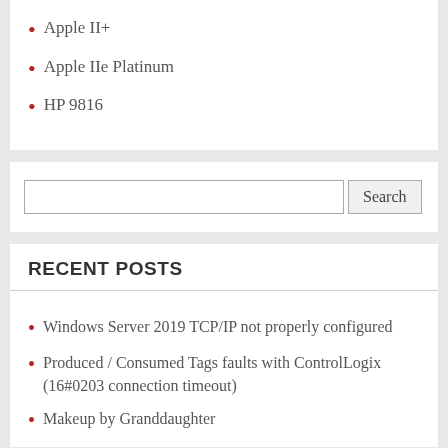Apple II+
Apple IIe Platinum
HP 9816
[Figure (other): Search input box with Search button]
RECENT POSTS
Windows Server 2019 TCP/IP not properly configured
Produced / Consumed Tags faults with ControlLogix (16#0203 connection timeout)
Makeup by Granddaughter